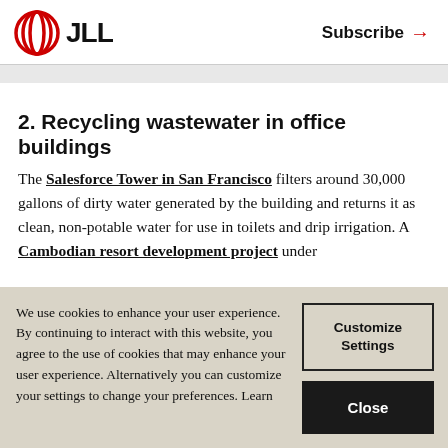JLL | Subscribe →
2. Recycling wastewater in office buildings
The Salesforce Tower in San Francisco filters around 30,000 gallons of dirty water generated by the building and returns it as clean, non-potable water for use in toilets and drip irrigation. A Cambodian resort development project under
We use cookies to enhance your user experience. By continuing to interact with this website, you agree to the use of cookies that may enhance your user experience. Alternatively you can customize your settings to change your preferences. Learn
Customize Settings
Close